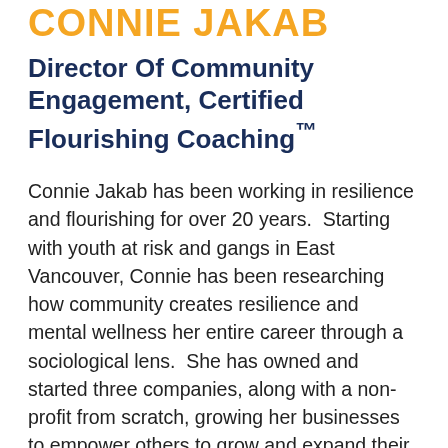CONNIE JAKAB
Director Of Community Engagement, Certified Flourishing Coaching™
Connie Jakab has been working in resilience and flourishing for over 20 years.  Starting with youth at risk and gangs in East Vancouver, Connie has been researching how community creates resilience and mental wellness her entire career through a sociological lens.  She has owned and started three companies, along with a non-profit from scratch, growing her businesses to empower others to grow and expand their personal potential.  Her passion to see others reach their potential has allowed her to…